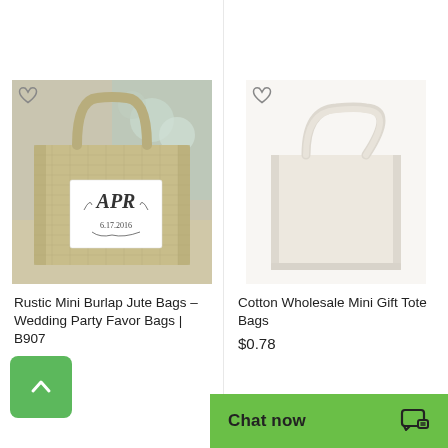[Figure (photo): Rustic mini burlap jute bag with monogram label reading 'APR 6.17.2016', displayed on a table with flowers in background]
Rustic Mini Burlap Jute Bags – Wedding Party Favor Bags | B907
$4.98
[Figure (photo): Plain cream/natural cotton mini tote bag on white background]
Cotton Wholesale Mini Gift Tote Bags
$0.78